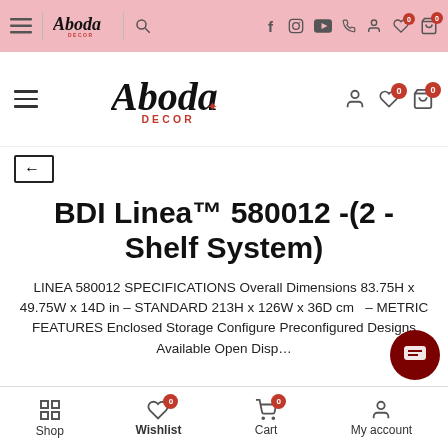Aboda Decor top navigation bar with logo, social icons, account, wishlist and cart icons
[Figure (screenshot): Aboda Decor main website header with hamburger menu, logo (Aboda DECOR), account icon, wishlist icon with badge 0, and cart icon with badge 0]
← (back arrow navigation)
BDI Linea™ 580012 -(2 - Shelf System)
LINEA 580012 SPECIFICATIONS Overall Dimensions 83.75H x 49.75W x 14D in – STANDARD 213H x 126W x 36D cm   – METRIC FEATURES Enclosed Storage Configure   Preconfigured Designs Available Open Disp…
Shop   Wishlist 0   Cart 0   My account